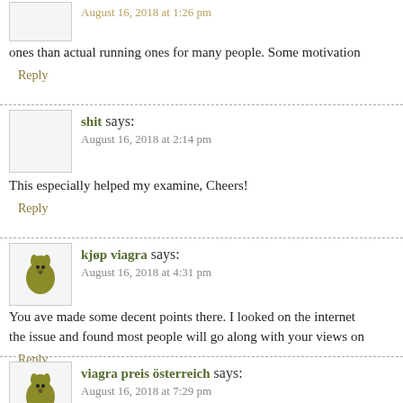ones than actual running ones for many people. Some motivation
Reply
shit says:
August 16, 2018 at 2:14 pm
This especially helped my examine, Cheers!
Reply
kjøp viagra says:
August 16, 2018 at 4:31 pm
You ave made some decent points there. I looked on the internet the issue and found most people will go along with your views on
Reply
viagra preis österreich says:
August 16, 2018 at 7:29 pm
I value the blog post.Thanks Again. Will read on
Reply